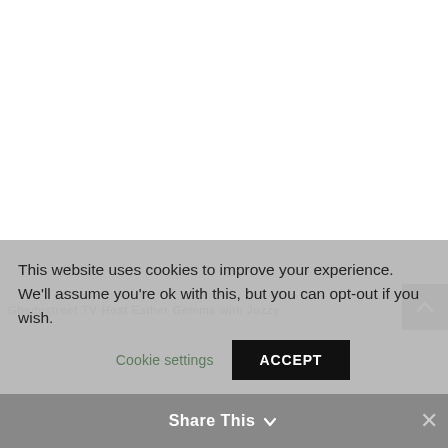Gbedustreet TV Host Esther Gemma with Jozzy
This website uses cookies to improve your experience. We'll assume you're ok with this, but you can opt-out if you wish.
Cookie settings
ACCEPT
Share This ✓